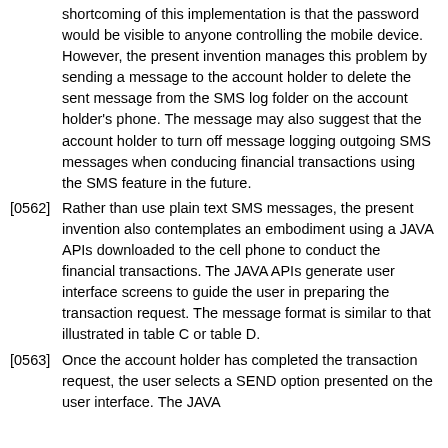shortcoming of this implementation is that the password would be visible to anyone controlling the mobile device. However, the present invention manages this problem by sending a message to the account holder to delete the sent message from the SMS log folder on the account holder's phone. The message may also suggest that the account holder to turn off message logging outgoing SMS messages when conducing financial transactions using the SMS feature in the future.
[0562] Rather than use plain text SMS messages, the present invention also contemplates an embodiment using a JAVA APIs downloaded to the cell phone to conduct the financial transactions. The JAVA APIs generate user interface screens to guide the user in preparing the transaction request. The message format is similar to that illustrated in table C or table D.
[0563] Once the account holder has completed the transaction request, the user selects a SEND option presented on the user interface. The JAVA